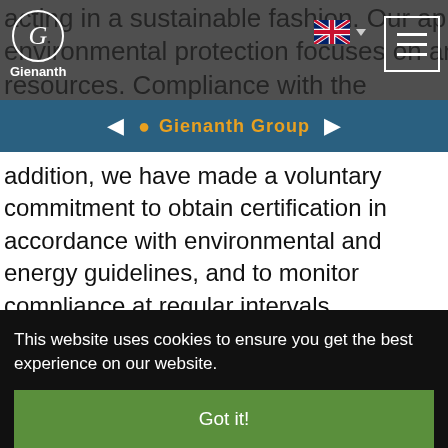Gienanth (logo) | UK flag | hamburger menu
acting in a sustainable fashion. Our approach to environmental protection focuses on an efficient use of all resources. Compliance with the
Gienanth Group
addition, we have made a voluntary commitment to obtain certification in accordance with environmental and energy guidelines, and to monitor compliance at regular intervals.
9. HANDLING INFORMATION
a) Confidential company information/Insider
This website uses cookies to ensure you get the best experience on our website.
Got it!